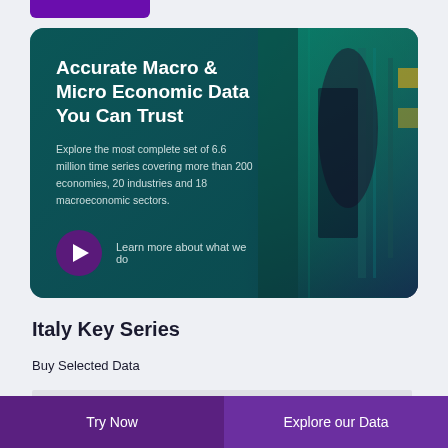[Figure (screenshot): Hero banner card with teal/dark gradient background showing a person in a corridor. Contains title 'Accurate Macro & Micro Economic Data You Can Trust', descriptive text about 6.6 million time series, and a play button with 'Learn more about what we do' link.]
Accurate Macro & Micro Economic Data You Can Trust
Explore the most complete set of 6.6 million time series covering more than 200 economies, 20 industries and 18 macroeconomic sectors.
Learn more about what we do
Italy Key Series
Buy Selected Data
Try Now   Explore our Data